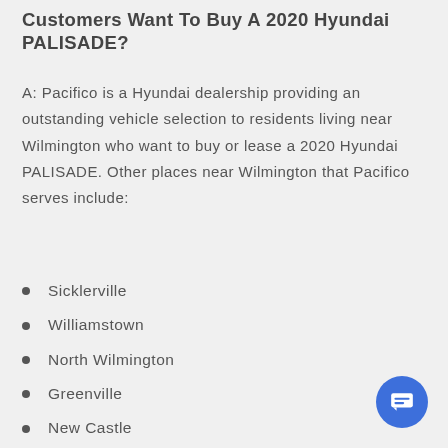Customers Want To Buy A 2020 Hyundai PALISADE?
A: Pacifico is a Hyundai dealership providing an outstanding vehicle selection to residents living near Wilmington who want to buy or lease a 2020 Hyundai PALISADE. Other places near Wilmington that Pacifico serves include:
Sicklerville
Williamstown
North Wilmington
Greenville
New Castle
Garnet Valley